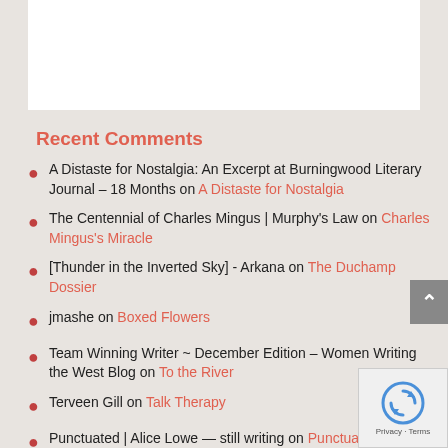Recent Comments
A Distaste for Nostalgia: An Excerpt at Burningwood Literary Journal – 18 Months on A Distaste for Nostalgia
The Centennial of Charles Mingus | Murphy's Law on Charles Mingus's Miracle
[Thunder in the Inverted Sky] - Arkana on The Duchamp Dossier
jmashe on Boxed Flowers
Team Winning Writer ~ December Edition – Women Writing the West Blog on To the River
Terveen Gill on Talk Therapy
Punctuated | Alice Lowe — still writing on Punctuated
varlaker on Featured Author: Michelle Cacho-Negrete